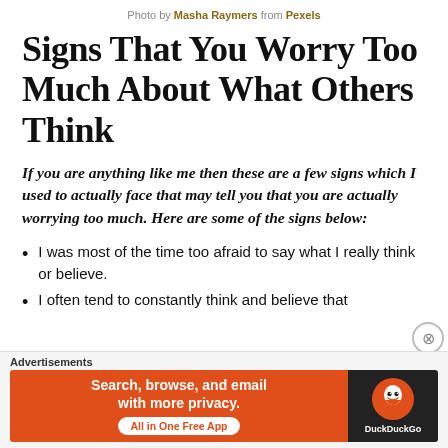Photo by Masha Raymers from Pexels
Signs That You Worry Too Much About What Others Think
If you are anything like me then these are a few signs which I used to actually face that may tell you that you are actually worrying too much. Here are some of the signs below:
I was most of the time too afraid to say what I really think or believe.
I often tend to constantly think and believe that
Advertisements
[Figure (screenshot): DuckDuckGo advertisement banner: orange background with text 'Search, browse, and email with more privacy. All in One Free App' and DuckDuckGo logo on dark background.]